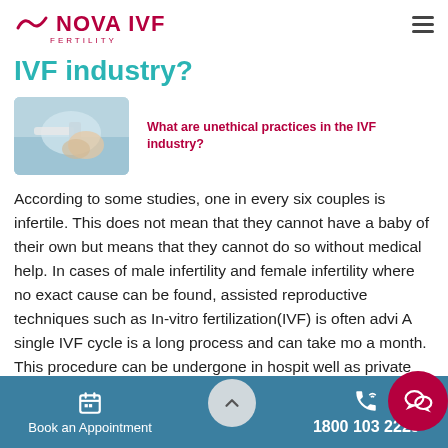[Figure (logo): Nova IVF Fertility logo with wave symbol in pink/crimson and hamburger menu icon]
IVF industry?
[Figure (photo): Thumbnail photo of a laboratory procedure, likely IVF-related, showing gloved hands with medical equipment]
What are unethical practices in the IVF industry?
According to some studies, one in every six couples is infertile. This does not mean that they cannot have a baby of their own but means that they cannot do so without medical help. In cases of male infertility and female infertility where no exact cause can be found, assisted reproductive techniques such as In-vitro fertilization(IVF) is often advi... A single IVF cycle is a long process and can take mo... a month. This procedure can be undergone in hospit... well as private clinics. IVF has helped to give birth to over 5 million babies...
Book an Appointment   1800 103 2229